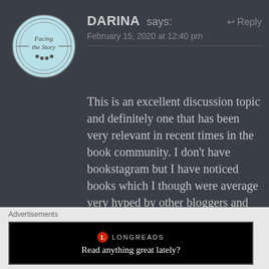[Figure (illustration): Circular avatar logo with light blue background, text 'Facing the Story' in the center with small paw print icons, surrounded by decorative circles]
DARINA says:
February 15, 2020 at 12:40 pm
Reply
This is an excellent discussion topic and definitely one that has been very relevant in recent times in the book community. I don't have bookstagram but I have noticed books which I though were average very hyped by other bloggers and praised on Twitter a lot. Over the years I have discovered some wonderful bloggers who give excellent reviews with their honest thoughts on books so if they have
Advertisements
LONGREADS
Read anything great lately?